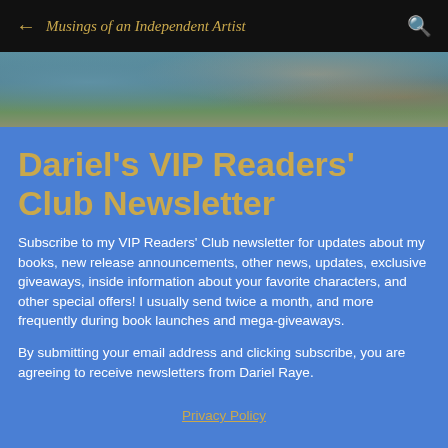← Musings of an Independent Artist 🔍
[Figure (photo): A photo strip showing people near water, partially visible at the top of the content area.]
Dariel's VIP Readers' Club Newsletter
Subscribe to my VIP Readers' Club newsletter for updates about my books, new release announcements, other news, updates, exclusive giveaways, inside information about your favorite characters, and other special offers! I usually send twice a month, and more frequently during book launches and mega-giveaways.
By submitting your email address and clicking subscribe, you are agreeing to receive newsletters from Dariel Raye.
Privacy Policy